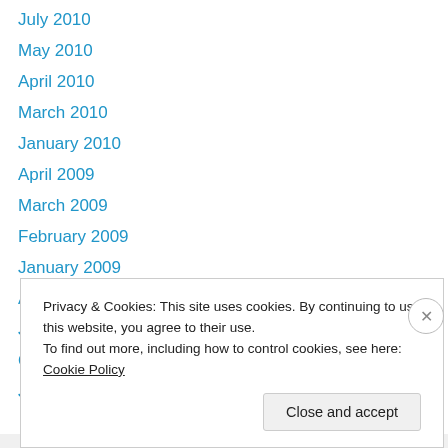July 2010
May 2010
April 2010
March 2010
January 2010
April 2009
March 2009
February 2009
January 2009
August 2008
January 2008
October 2007
June 2007
Privacy & Cookies: This site uses cookies. By continuing to use this website, you agree to their use.
To find out more, including how to control cookies, see here: Cookie Policy